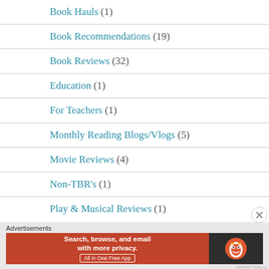Book Hauls (1)
Book Recommendations (19)
Book Reviews (32)
Education (1)
For Teachers (1)
Monthly Reading Blogs/Vlogs (5)
Movie Reviews (4)
Non-TBR's (1)
Play & Musical Reviews (1)
Advertisements
[Figure (other): DuckDuckGo advertisement banner: 'Search, browse, and email with more privacy. All in One Free App' with DuckDuckGo logo on dark background]